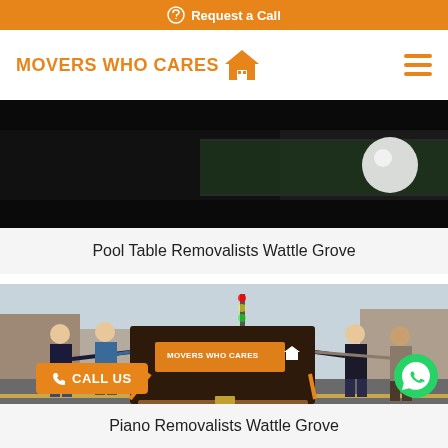Request a Call
MOVERS WHO CARES
[Figure (photo): Close-up of a dark pool table corner with white ball, angled shot]
Pool Table Removalists Wattle Grove
[Figure (photo): Four people moving an upright piano on a dolly in a city street, piano branded with Movers Who Cares logo]
Piano Removalists Wattle Grove